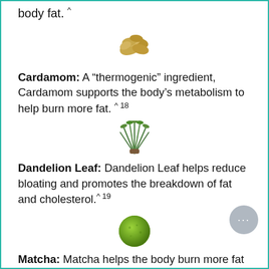body fat.
[Figure (photo): Cardamom pods — golden/brown dried cardamom seeds clustered together]
Cardamom: A “thermogenic” ingredient, Cardamom supports the body’s metabolism to help burn more fat. ^18
[Figure (photo): Dandelion leaf — a bundle of fresh green herb sprigs]
Dandelion Leaf: Dandelion Leaf helps reduce bloating and promotes the breakdown of fat and cholesterol.^19
[Figure (photo): Matcha — a round ball of bright green matcha powder]
Matcha: Matcha helps the body burn more fat during the day. ^20, 21, 2